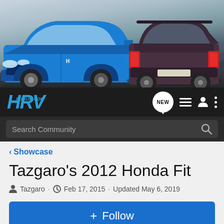[Figure (photo): Header banner showing two Honda HR-V SUVs — one blue facing forward on the left, one dark/maroon from the rear on the right, against a mountain road background]
HRV Forum.com — navigation bar with NEW, list, profile, and menu icons and Search Community search bar
< Showcase
Tazgaro's 2012 Honda Fit
Tazgaro · Feb 17, 2015 · Updated May 6, 2019
+ Follow